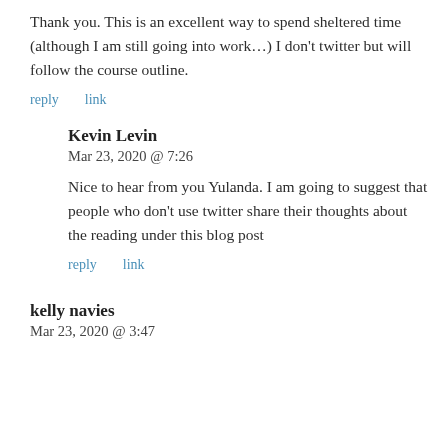Thank you. This is an excellent way to spend sheltered time (although I am still going into work…) I don't twitter but will follow the course outline.
reply   link
Kevin Levin
Mar 23, 2020 @ 7:26
Nice to hear from you Yulanda. I am going to suggest that people who don't use twitter share their thoughts about the reading under this blog post
reply   link
kelly navies
Mar 23, 2020 @ 3:47